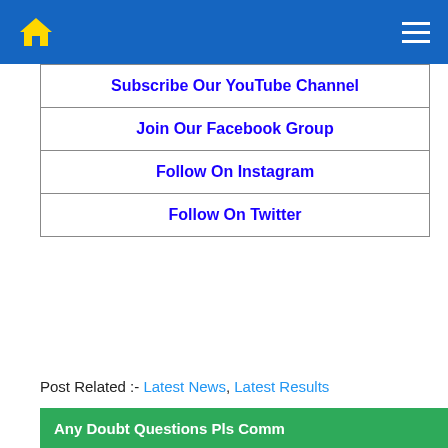Home | Menu
| Subscribe Our YouTube Channel |
| Join Our Facebook Group |
| Follow On Instagram |
| Follow On Twitter |
Post Related :- Latest News, Latest Results
Any Doubt Questions Pls Comm...
Leave a Reply
Your email address will not be published. Required fields are marked *
Comment *